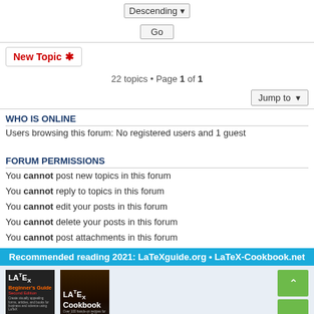[Figure (screenshot): Dropdown selector showing 'Descending' with arrow]
[Figure (screenshot): Go button]
[Figure (screenshot): New Topic button with asterisk icon]
22 topics • Page 1 of 1
[Figure (screenshot): Jump to button with dropdown arrow]
WHO IS ONLINE
Users browsing this forum: No registered users and 1 guest
FORUM PERMISSIONS
You cannot post new topics in this forum
You cannot reply to topics in this forum
You cannot edit your posts in this forum
You cannot delete your posts in this forum
You cannot post attachments in this forum
Recommended reading 2021: LaTeXguide.org • LaTeX-Cookbook.net
[Figure (photo): LaTeX Beginner's Guide Second Edition book cover and LaTeX Cookbook book cover with navigation arrows]